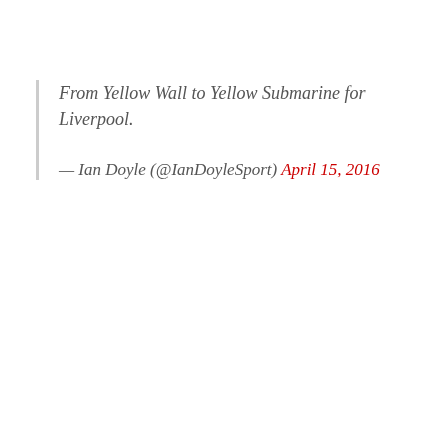From Yellow Wall to Yellow Submarine for Liverpool.

— Ian Doyle (@IanDoyleSport) April 15, 2016